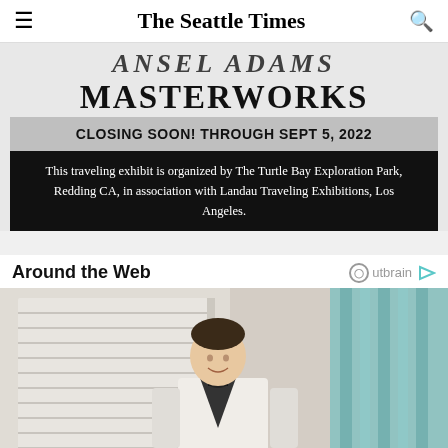The Seattle Times
[Figure (other): Advertisement for Ansel Adams Masterworks exhibit. Text reads: ANSEL ADAMS MASTERWORKS. CLOSING SOON! THROUGH SEPT 5, 2022. This traveling exhibit is organized by The Turtle Bay Exploration Park, Redding CA, in association with Landau Traveling Exhibitions, Los Angeles.]
Around the Web
[Figure (photo): A young boy in a white tuxedo jacket and bow tie, standing in a room with window blinds and teal/blue curtains.]